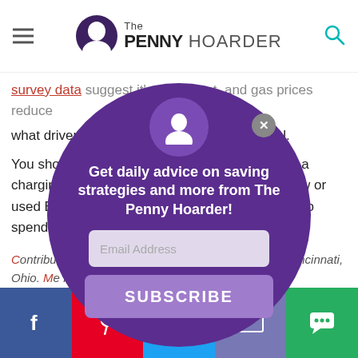The Penny Hoarder
what drivers are spending each month on fuel.
You should, however, factor in the installation of a charging station at your home, considerably new or used EV purchase. Depending on setup, expect to spend $1,000 to $5,000, but some are more. u.
Contributor, Timothy Moore, is a writer and editor in Cincinnati, Ohio. He focuses on banks, loans and insurance for The Penny Hoarder. His work has been featured on Daily Worth, MSN Money, Magazine, Angi, HomeAdvisor.
[Figure (screenshot): Email subscription modal popup with purple circle background. Contains The Penny Hoarder avatar icon, close button (X), title 'Get daily advice on saving strategies and more from The Penny Hoarder!', email address input field, and SUBSCRIBE button.]
Facebook, Pinterest, Twitter, Email, Chat social sharing bar